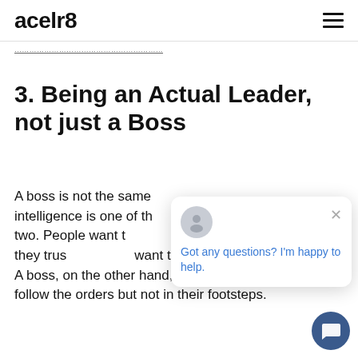acelr8
…………………………………………………
3. Being an Actual Leader, not just a Boss
A boss is not the same … intelligence is one of th… the two. People want t… follow them, they trus… want to help achieve their mission. A boss, on the other hand, is simply obeyed, people follow the orders but not in their footsteps.